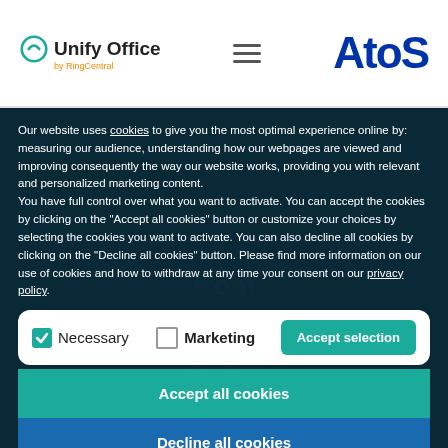[Figure (logo): Unify Office by RingCentral logo on the left, hamburger menu icon in center, Atos logo on the right, in a white header bar]
Our website uses cookies to give you the most optimal experience online by: measuring our audience, understanding how our webpages are viewed and improving consequently the way our website works, providing you with relevant and personalized marketing content.
You have full control over what you want to activate. You can accept the cookies by clicking on the "Accept all cookies" button or customize your choices by selecting the cookies you want to activate. You can also decline all cookies by clicking on the "Decline all cookies" button. Please find more information on our use of cookies and how to withdraw at any time your consent on our privacy policy.
Necessary
Marketing
Accept selection
Accept all cookies
Decline all cookies
Privacy policy